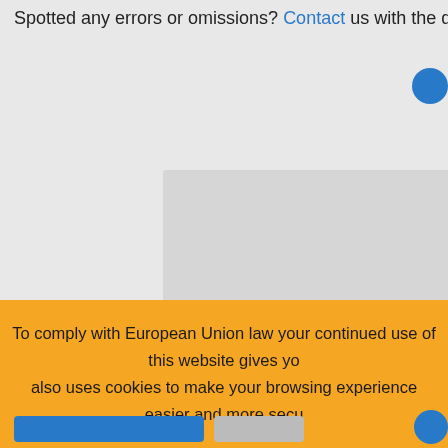Spotted any errors or omissions? Contact us with the details quoti...
[Figure (screenshot): A gray panel/content area placeholder in the center-right of the page, partially visible, representing a loaded web page or embedded content area.]
To comply with European Union law your continued use of this website gives yo... also uses cookies to make your browsing experience easier and more secu...